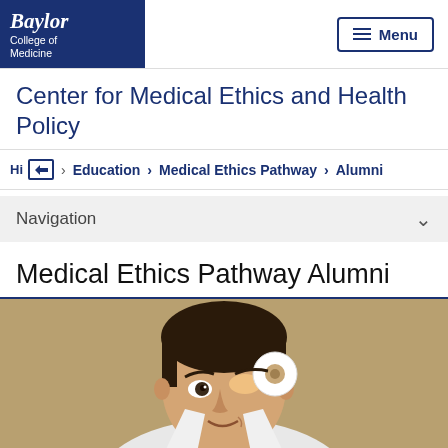Baylor College of Medicine | Menu
Center for Medical Ethics and Health Policy
Home > Education > Medical Ethics Pathway > Alumni
Navigation
Medical Ethics Pathway Alumni
[Figure (photo): A young Asian male doctor in a white coat, smiling slightly, with a circular medical instrument or tape roll held near his eye, olive/brown background.]